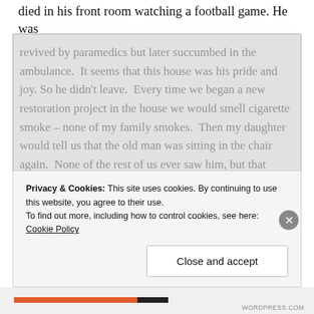died in his front room watching a football game. He was
revived by paramedics but later succumbed in the ambulance. It seems that this house was his pride and joy. So he didn't leave. Every time we began a new restoration project in the house we would smell cigarette smoke – none of my family smokes. Then my daughter would tell us that the old man was sitting in the chair again. None of the rest of us ever saw him, but that wasn't unusual. One of my daughter's gifts is seeing the spirits around us.
He wasn't our only visitor though. At night or in the early morning hours when all was quiet a small shuffling could
Privacy & Cookies: This site uses cookies. By continuing to use this website, you agree to their use. To find out more, including how to control cookies, see here: Cookie Policy
Close and accept